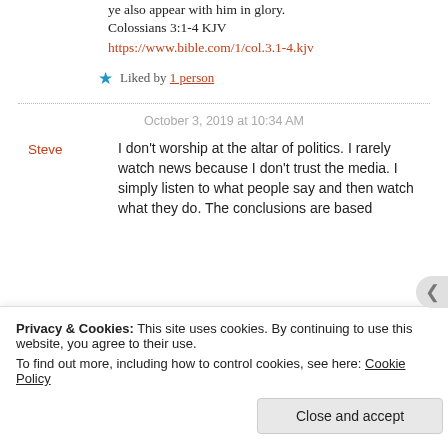ye also appear with him in glory. Colossians 3:1-4 KJV
https://www.bible.com/1/col.3.1-4.kjv
★ Liked by 1 person
October 3, 2019 at 10:34 AM
Steve
I don't worship at the altar of politics. I rarely watch news because I don't trust the media. I simply listen to what people say and then watch what they do. The conclusions are based
Privacy & Cookies: This site uses cookies. By continuing to use this website, you agree to their use. To find out more, including how to control cookies, see here: Cookie Policy
Close and accept